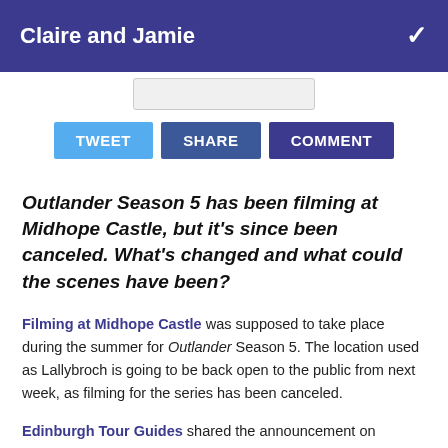Claire and Jamie
[Figure (other): Partial search/input bar visible at top]
TWEET  SHARE  COMMENT
Outlander Season 5 has been filming at Midhope Castle, but it's since been canceled. What's changed and what could the scenes have been?
Filming at Midhope Castle was supposed to take place during the summer for Outlander Season 5. The location used as Lallybroch is going to be back open to the public from next week, as filming for the series has been canceled.
Edinburgh Tour Guides shared the announcement on Facebook, stating that it's due to one actor having a